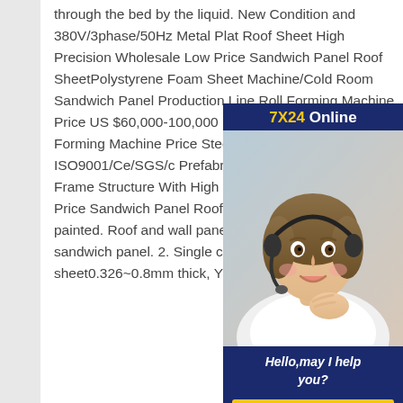through the bed by the liquid. New Condition and 380V/3phase/50Hz Metal Plat Roof Sheet High Precision Wholesale Low Price Sandwich Panel Roof SheetPolystyrene Foam Sheet Machine/Cold Room Sandwich Panel Production Line Roll Forming Machine Price US $60,000-100,000 Roof Panel Step Tile Roll Forming Machine Price Steel Roof Sheet Machine with ISO9001/Ce/SGS/c Prefabricated Railway Station Steel Frame Structure With High Precision Wholesale Low Price Sandwich Panel Roof SheetHot-dip galvanized or painted. Roof and wall panel. 1. EPS ,PU ,Rockwool sandwich panel. 2. Single colorful corrugated steel sheet0.326~0.8mm thick, YX28-205-820
[Figure (other): Customer service chat widget with '7X24 Online' header in navy/gold, photo of a smiling woman with a headset, 'Hello, may I help you?' text, and 'Get Latest Price' yellow button]